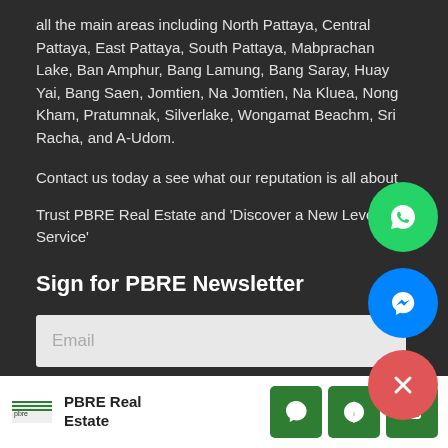all the main areas including North Pattaya, Central Pattaya, East Pattaya, South Pattaya, Mabprachan Lake, Ban Amphur, Bang Lamung, Bang Saray, Huay Yai, Bang Saen, Jomtien, Na Jomtien, Na Kluea, Nong Kham, Pratumnak, Silverlake, Wongamat Beachm, Sri Racha, and A-Udom.
Contact us today a see what our reputation is all about
Trust PBRE Real Estate and 'Discover a New Level Of Service'
Sign for PBRE Newsletter
Email
Submit
[Figure (illustration): Green circle with WhatsApp phone icon (floating button)]
[Figure (illustration): Blue circle with Facebook Messenger lightning bolt icon (floating button)]
[Figure (illustration): Red circle with X close icon (floating button)]
PBRE Real Estate [logo] [WhatsApp icon] [phone icon] [email icon]